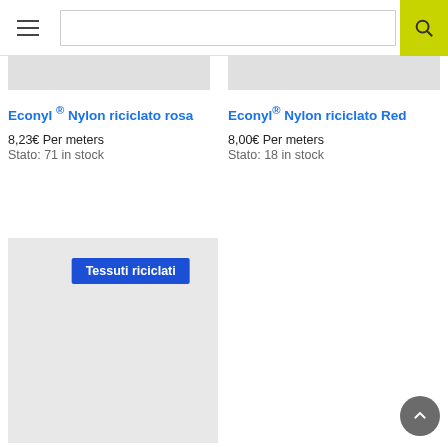[Figure (screenshot): Website header with hamburger menu icon, search input box, and yellow-green search button with magnifying glass icon]
Econyl ® Nylon riciclato rosa
8,23€ Per meters
Stato: 71 in stock
Econyl® Nylon riciclato Red
8,00€ Per meters
Stato: 18 in stock
[Figure (screenshot): Product category card with gray background and blue badge reading 'Tessuti riciclati']